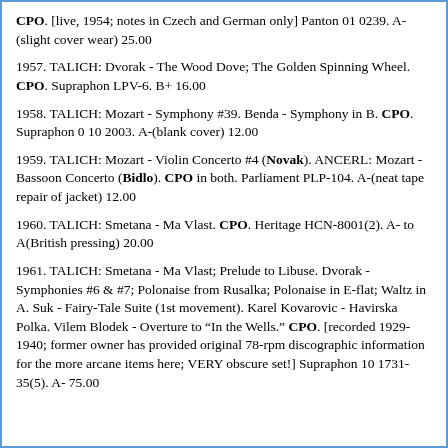CPO. [live, 1954; notes in Czech and German only] Panton 01 0239. A-(slight cover wear) 25.00
1957. TALICH: Dvorak - The Wood Dove; The Golden Spinning Wheel. CPO. Supraphon LPV-6. B+ 16.00
1958. TALICH: Mozart - Symphony #39. Benda - Symphony in B. CPO. Supraphon 0 10 2003. A-(blank cover) 12.00
1959. TALICH: Mozart - Violin Concerto #4 (Novak). ANCERL: Mozart - Bassoon Concerto (Bidlo). CPO in both. Parliament PLP-104. A-(neat tape repair of jacket) 12.00
1960. TALICH: Smetana - Ma Vlast. CPO. Heritage HCN-8001(2). A- to A(British pressing) 20.00
1961. TALICH: Smetana - Ma Vlast; Prelude to Libuse. Dvorak - Symphonies #6 & #7; Polonaise from Rusalka; Polonaise in E-flat; Waltz in A. Suk - Fairy-Tale Suite (1st movement). Karel Kovarovic - Havirska Polka. Vilem Blodek - Overture to "In the Wells." CPO. [recorded 1929-1940; former owner has provided original 78-rpm discographic information for the more arcane items here; VERY obscure set!] Supraphon 10 1731-35(5). A- 75.00